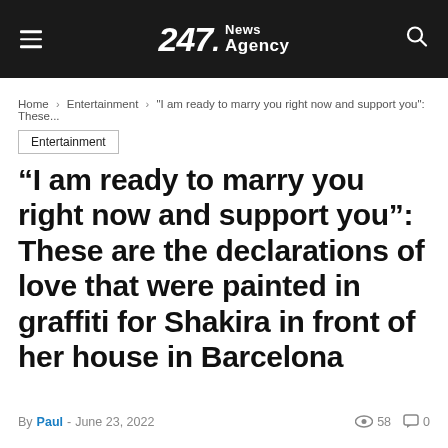247 News Agency
Home > Entertainment > "I am ready to marry you right now and support you": These...
Entertainment
“I am ready to marry you right now and support you”: These are the declarations of love that were painted in graffiti for Shakira in front of her house in Barcelona
By Paul - June 23, 2022  58  0